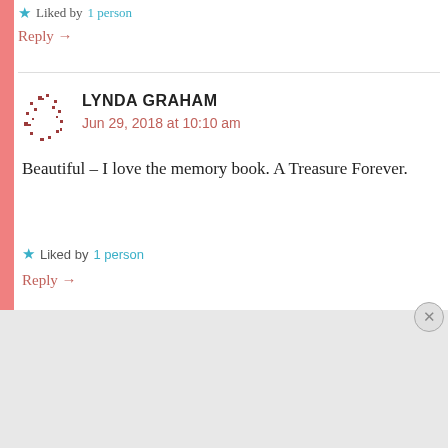★ Liked by 1 person
Reply →
LYNDA GRAHAM
Jun 29, 2018 at 10:10 am
Beautiful – I love the memory book. A Treasure Forever.
★ Liked by 1 person
Reply →
[Figure (infographic): DuckDuckGo advertisement banner with orange background showing 'Search, browse, and email with more privacy. All in One Free App' text and a phone graphic with DuckDuckGo logo]